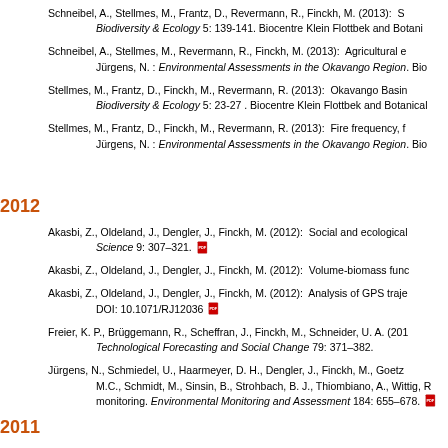Schneibel, A., Stellmes, M., Frantz, D., Revermann, R., Finckh, M. (2013):  S Biodiversity & Ecology 5: 139-141. Biocentre Klein Flottbek and Botani
Schneibel, A., Stellmes, M., Revermann, R., Finckh, M. (2013):  Agricultural e Jürgens, N. : Environmental Assessments in the Okavango Region. Bio
Stellmes, M., Frantz, D., Finckh, M., Revermann, R. (2013):  Okavango Basi Biodiversity & Ecology 5: 23-27 . Biocentre Klein Flottbek and Botanical
Stellmes, M., Frantz, D., Finckh, M., Revermann, R. (2013):  Fire frequency, f Jürgens, N. : Environmental Assessments in the Okavango Region. Bio
2012
Akasbi, Z., Oldeland, J., Dengler, J., Finckh, M. (2012):  Social and ecological Science 9: 307–321.
Akasbi, Z., Oldeland, J., Dengler, J., Finckh, M. (2012):  Volume-biomass func
Akasbi, Z., Oldeland, J., Dengler, J., Finckh, M. (2012):  Analysis of GPS traje DOI: 10.1071/RJ12036
Freier, K. P., Brüggemann, R., Scheffran, J., Finckh, M., Schneider, U. A. (201 Technological Forecasting and Social Change 79: 371–382.
Jürgens, N., Schmiedel, U., Haarmeyer, D. H., Dengler, J., Finckh, M., Goetz M.C., Schmidt, M., Sinsin, B., Strohbach, B. J., Thiombiano, A., Wittig, R monitoring. Environmental Monitoring and Assessment 184: 655–678.
2011